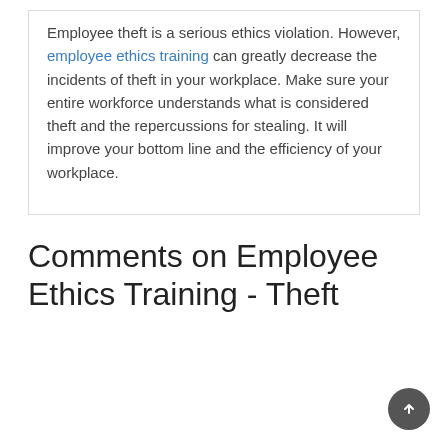Employee theft is a serious ethics violation. However, employee ethics training can greatly decrease the incidents of theft in your workplace. Make sure your entire workforce understands what is considered theft and the repercussions for stealing. It will improve your bottom line and the efficiency of your workplace.
Comments on Employee Ethics Training - Theft